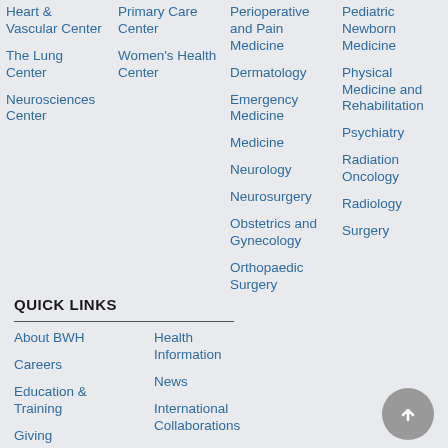Heart & Vascular Center
The Lung Center
Neurosciences Center
Primary Care Center
Women's Health Center
Perioperative and Pain Medicine
Dermatology
Emergency Medicine
Medicine
Neurology
Neurosurgery
Obstetrics and Gynecology
Orthopaedic Surgery
Pediatric Newborn Medicine
Physical Medicine and Rehabilitation
Psychiatry
Radiation Oncology
Radiology
Surgery
QUICK LINKS
About BWH
Careers
Education & Training
Giving
Health Information
News
International Collaborations